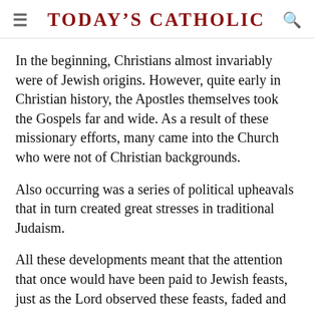Today's Catholic
In the beginning, Christians almost invariably were of Jewish origins. However, quite early in Christian history, the Apostles themselves took the Gospels far and wide. As a result of these missionary efforts, many came into the Church who were not of Christian backgrounds.
Also occurring was a series of political upheavals that in turn created great stresses in traditional Judaism.
All these developments meant that the attention that once would have been paid to Jewish feasts, just as the Lord observed these feasts, faded and